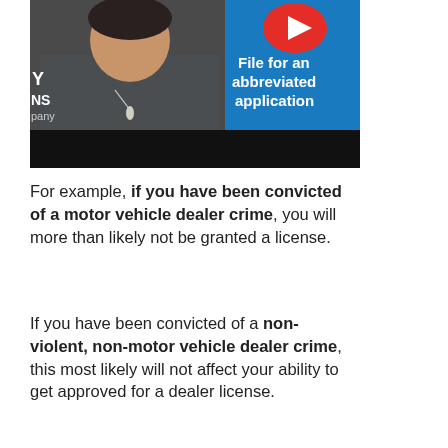[Figure (screenshot): Video thumbnail showing a person in a grey sweater with a YouTube play button icon and blue banner text reading 'File for an abbreviated application'. Partial text 'Y', 'NS', 'pany' visible on left side.]
For example, if you have been convicted of a motor vehicle dealer crime, you will more than likely not be granted a license.
If you have been convicted of a non-violent, non-motor vehicle dealer crime, this most likely will not affect your ability to get approved for a dealer license.